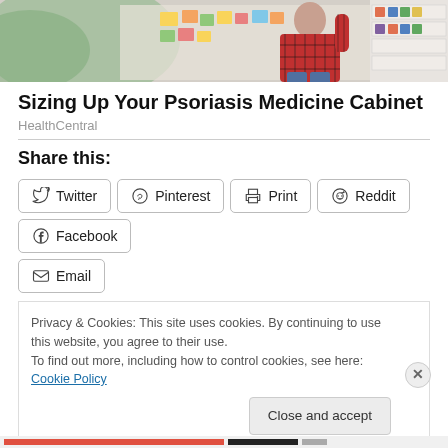[Figure (photo): Person in red plaid shirt working at a wall or bulletin board, pharmacy shelves visible on right]
Sizing Up Your Psoriasis Medicine Cabinet
HealthCentral
Share this:
Twitter | Pinterest | Print | Reddit | Facebook | Email
Privacy & Cookies: This site uses cookies. By continuing to use this website, you agree to their use. To find out more, including how to control cookies, see here: Cookie Policy